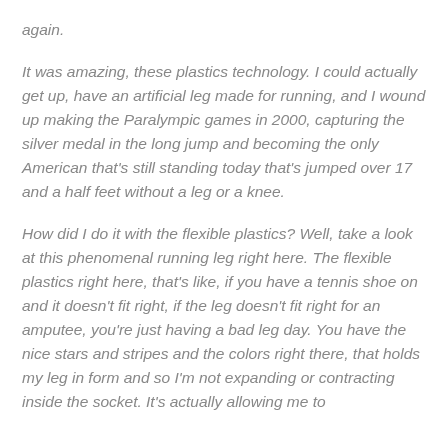again.
It was amazing, these plastics technology. I could actually get up, have an artificial leg made for running, and I wound up making the Paralympic games in 2000, capturing the silver medal in the long jump and becoming the only American that’s still standing today that’s jumped over 17 and a half feet without a leg or a knee.
How did I do it with the flexible plastics? Well, take a look at this phenomenal running leg right here. The flexible plastics right here, that’s like, if you have a tennis shoe on and it doesn’t fit right, if the leg doesn’t fit right for an amputee, you’re just having a bad leg day. You have the nice stars and stripes and the colors right there, that holds my leg in form and so I’m not expanding or contracting inside the socket. It’s actually allowing me to